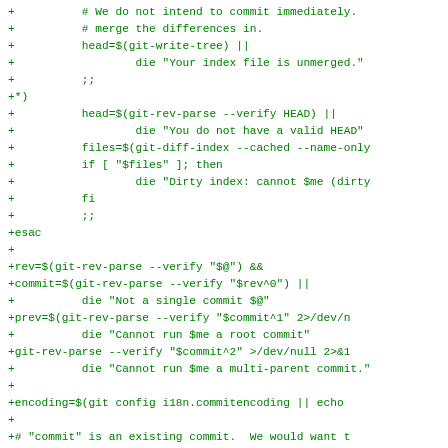+          # We do not intend to commit immediately.
+          # merge the differences in.
+          head=$(git-write-tree) ||
+                  die "Your index file is unmerged."
+          ;;
+*)
+          head=$(git-rev-parse --verify HEAD) ||
+                  die "You do not have a valid HEAD"
+          files=$(git-diff-index --cached --name-only
+          if [ "$files" ]; then
+                  die "Dirty index: cannot $me (dirty
+          fi
+          ;;
+esac
+
+rev=$(git-rev-parse --verify "$@") &&
+commit=$(git-rev-parse --verify "$rev^0") ||
+          die "Not a single commit $@"
+prev=$(git-rev-parse --verify "$commit^1" 2>/dev/n
+          die "Cannot run $me a root commit"
+git-rev-parse --verify "$commit^2" >/dev/null 2>&1
+          die "Cannot run $me a multi-parent commit."
+
+encoding=$(git config i18n.commitencoding || echo
+
+# "commit" is an existing commit.  We would want t
+# the difference it introduces since its first par
+# on top of the current HEAD if we are cherry-pick
+# reverse of it if we are revert.
+